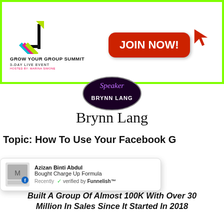[Figure (logo): Grow Your Group Summit logo with diagonal arrow graphic, text: GROW YOUR GROUP SUMMIT, 3-DAY LIVE EVENT, HOSTED BY: MARINA SIMONE]
[Figure (other): Red JOIN NOW! button with cursor arrow icon]
[Figure (other): Speaker badge circle with text 'Speaker' and 'BRYNN LANG' on dark background]
Brynn Lang
Topic: How To Use Your Facebook Group As A Powerful Tool To
[Figure (other): Funnelish notification popup: Azizan Binti Abdul, Bought Charge Up Formula, Recently, verified by Funnelish™]
Built A Group Of Almost 100K With Over 30 Million In Sales Since It Started In 2018